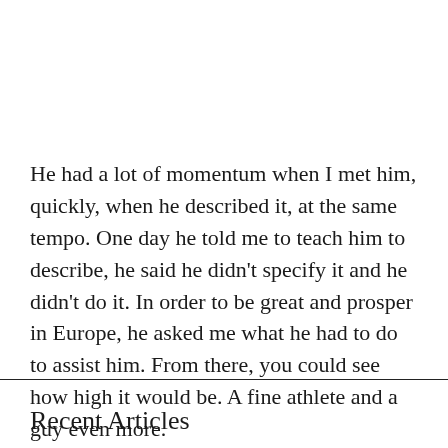He had a lot of momentum when I met him, quickly, when he described it, at the same tempo. One day he told me to teach him to describe, he said he didn't specify it and he didn't do it. In order to be great and prosper in Europe, he asked me what he had to do to assist him. From there, you could see how high it would be. A fine athlete and a guy even more.
Recent Articles